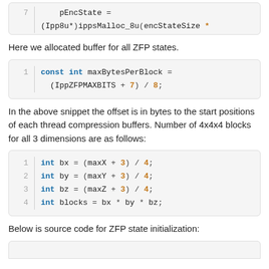[Figure (screenshot): Partial code block showing line 7: pEncState = (Ipp8u*)ippsMalloc_8u(encStateSize *]
Here we allocated buffer for all ZFP states.
[Figure (screenshot): Code block line 1: const int maxBytesPerBlock = (IppZFPMAXBITS + 7) / 8;]
In the above snippet the offset is in bytes to the start positions of each thread compression buffers. Number of 4x4x4 blocks for all 3 dimensions are as follows:
[Figure (screenshot): Code block lines 1-4: int bx = (maxX + 3) / 4; int by = (maxY + 3) / 4; int bz = (maxZ + 3) / 4; int blocks = bx * by * bz;]
Below is source code for ZFP state initialization: